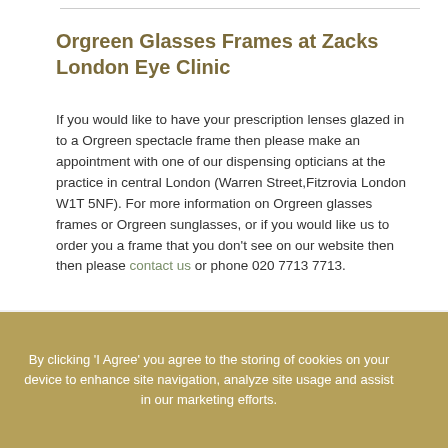Orgreen Glasses Frames at Zacks London Eye Clinic
If you would like to have your prescription lenses glazed in to a Orgreen spectacle frame then please make an appointment with one of our dispensing opticians at the practice in central London (Warren Street,Fitzrovia London W1T 5NF). For more information on Orgreen glasses frames or Orgreen sunglasses, or if you would like us to order you a frame that you don't see on our website then then please contact us or phone 020 7713 7713.
By clicking 'I Agree' you agree to the storing of cookies on your device to enhance site navigation, analyze site usage and assist in our marketing efforts.